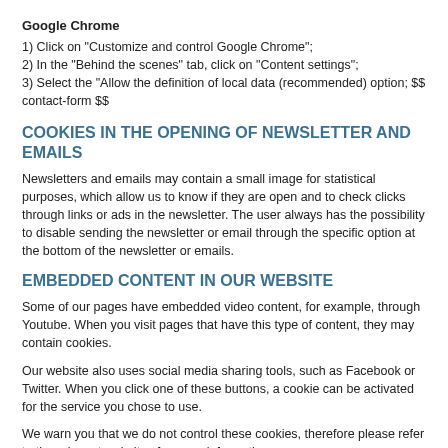Google Chrome
1) Click on "Customize and control Google Chrome";
2) In the "Behind the scenes" tab, click on "Content settings";
3) Select the "Allow the definition of local data (recommended) option; $$ contact-form $$
COOKIES IN THE OPENING OF NEWSLETTER AND EMAILS
Newsletters and emails may contain a small image for statistical purposes, which allow us to know if they are open and to check clicks through links or ads in the newsletter. The user always has the possibility to disable sending the newsletter or email through the specific option at the bottom of the newsletter or emails.
EMBEDDED CONTENT IN OUR WEBSITE
Some of our pages have embedded video content, for example, through Youtube. When you visit pages that have this type of content, they may contain cookies.
Our website also uses social media sharing tools, such as Facebook or Twitter. When you click one of these buttons, a cookie can be activated for the service you chose to use.
We warn you that we do not control these cookies, therefore please refer to the relevant websites for more information.